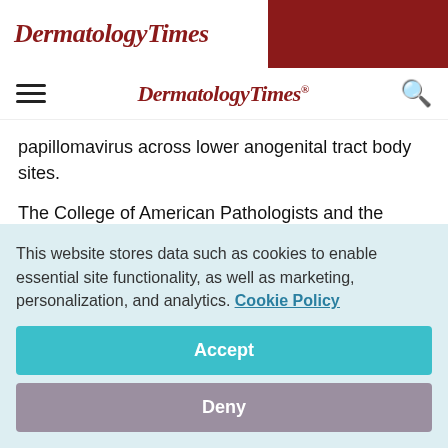DermatologyTimes
DermatologyTimes
papillomavirus across lower anogenital tract body sites.
The College of American Pathologists and the American Society for Colposcopy and Cervical Pathology introduced the CAP/ASCCP LAST (Lower Anogenital Squamous Terminology) recommendations, Newswise.com reports. The two groups aim to enhance communication between
This website stores data such as cookies to enable essential site functionality, as well as marketing, personalization, and analytics. Cookie Policy
Accept
Deny